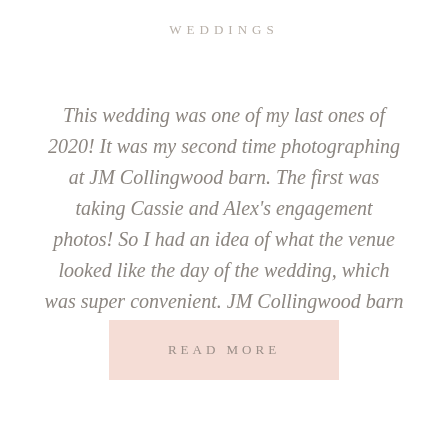WEDDINGS
This wedding was one of my last ones of 2020! It was my second time photographing at JM Collingwood barn. The first was taking Cassie and Alex's engagement photos! So I had an idea of what the venue looked like the day of the wedding, which was super convenient. JM Collingwood barn is supposed to [...]
READ MORE